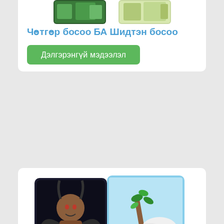[Figure (illustration): Two tarot cards (partially visible at top): nature/landscape themed cards shown at top of first card block]
Чөтгөр босоо БА Шидтэн босоо
Дэлгэрэнгүй мэдээлэл
[Figure (illustration): Two tarot cards side by side: The Devil card (dark, figure with horns, chained figures) and Ace of Wands card (hand holding a wand/branch with leaves, clouds)]
Чөтгөр босоо БА Ace of Wands босоо
Дэлгэрэнгүй мэдээлэл